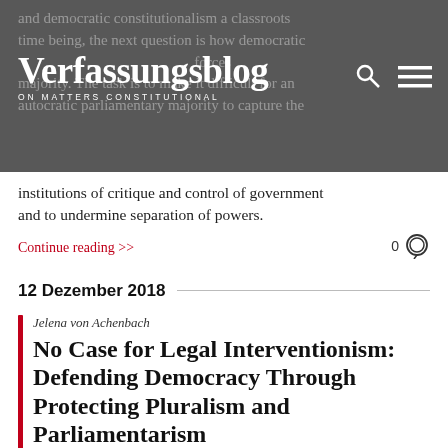Verfassungsblog ON MATTERS CONSTITUTIONAL
and democratic constitutionalism a classroots time being, the next question is how democratic forces to make it difficult for an autocratic parliamentary majority to capture the institutions of critique and control of government and to undermine separation of powers.
Continue reading >>
0
12 Dezember 2018
Jelena von Achenbach
No Case for Legal Interventionism: Defending Democracy Through Protecting Pluralism and Parliamentarism
Being a democrat means accepting that the law is